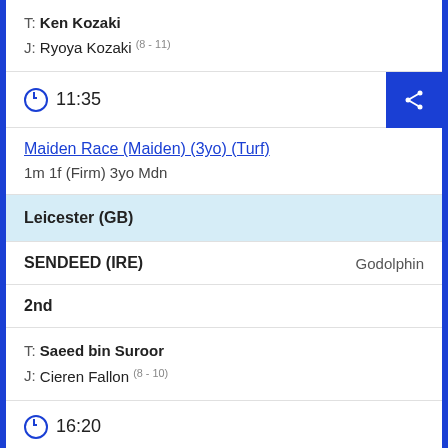T: Ken Kozaki
J: Ryoya Kozaki (8 - 11)
11:35
Maiden Race (Maiden) (3yo) (Turf)
1m 1f (Firm) 3yo Mdn
Leicester (GB)
SENDEED (IRE)   Godolphin
2nd
T: Saeed bin Suroor
J: Cieren Fallon (8 - 10)
16:20